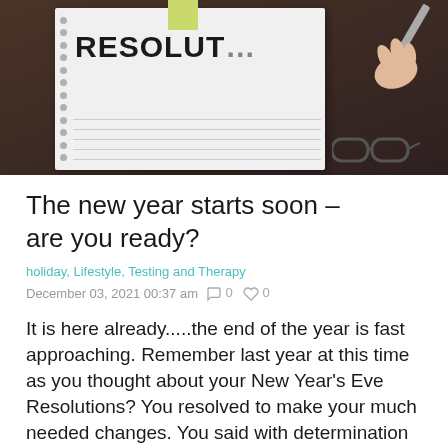[Figure (photo): A notebook with 'RESOLUTIO...' written on it in bold letters, a hand holding a pen writing, glasses resting beside the notebook, all on a dark brown wooden surface.]
The new year starts soon – are you ready?
holiday, Lifestyle, Testing and Therapy
December 03, 2021 00:37 am  0  0
It is here already.....the end of the year is fast approaching. Remember last year at this time as you thought about your New Year's Eve Resolutions? You resolved to make your much needed changes. You said with determination you were going to get better, get more